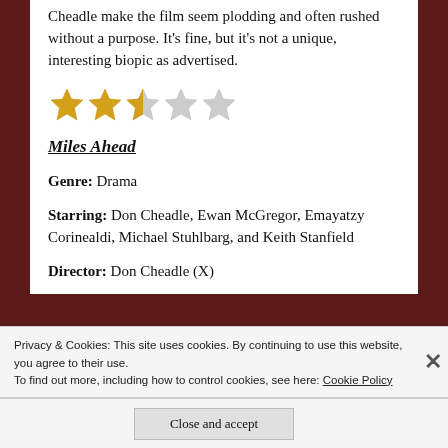Cheadle make the film seem plodding and often rushed without a purpose. It's fine, but it's not a unique, interesting biopic as advertised.
[Figure (other): Star rating: 2.5 out of 5 stars (two full gold stars, one half gold/grey star, two empty grey stars)]
Miles Ahead
Genre: Drama
Starring: Don Cheadle, Ewan McGregor, Emayatzy Corinealdi, Michael Stuhlbarg, and Keith Stanfield
Director: Don Cheadle (X)
Privacy & Cookies: This site uses cookies. By continuing to use this website, you agree to their use.
To find out more, including how to control cookies, see here: Cookie Policy